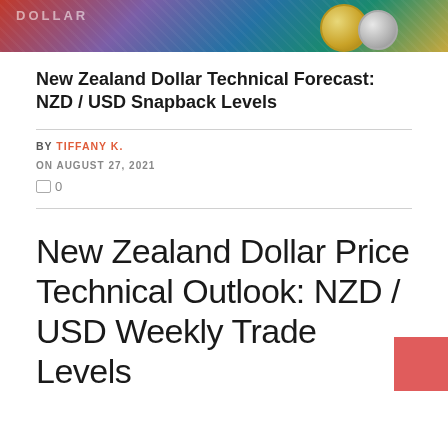[Figure (photo): Photo of New Zealand dollar banknotes and coins with teal/blue coloring]
New Zealand Dollar Technical Forecast: NZD / USD Snapback Levels
BY TIFFANY K.
ON AUGUST 27, 2021
0
New Zealand Dollar Price Technical Outlook: NZD / USD Weekly Trade Levels